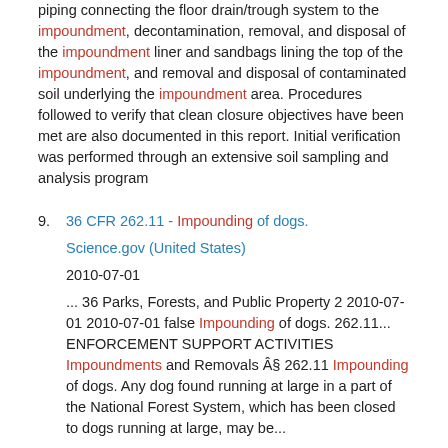piping connecting the floor drain/trough system to the impoundment, decontamination, removal, and disposal of the impoundment liner and sandbags lining the top of the impoundment, and removal and disposal of contaminated soil underlying the impoundment area. Procedures followed to verify that clean closure objectives have been met are also documented in this report. Initial verification was performed through an extensive soil sampling and analysis program
9. 36 CFR 262.11 - Impounding of dogs.
Science.gov (United States)
2010-07-01
... 36 Parks, Forests, and Public Property 2 2010-07-01 2010-07-01 false Impounding of dogs. 262.11... ENFORCEMENT SUPPORT ACTIVITIES Impoundments and Removals Â§ 262.11 Impounding of dogs. Any dog found running at large in a part of the National Forest System, which has been closed to dogs running at large, may be...
10. 49 CFR 193.2181 - Impoundment capacity: LNG storage tanks.